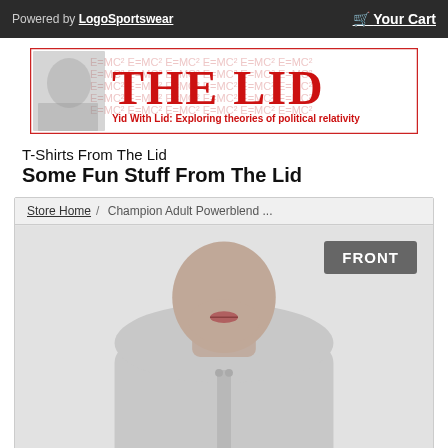Powered by LogoSportswear    Your Cart
[Figure (logo): The Lid blog banner with Einstein image. Text reads: THE LID. Yid With Lid: Exploring theories of political relativity]
T-Shirts From The Lid
Some Fun Stuff From The Lid
Store Home / Champion Adult Powerblend ...
[Figure (photo): Photo of man wearing a grey Champion hoodie sweatshirt. FRONT badge overlay in top right.]